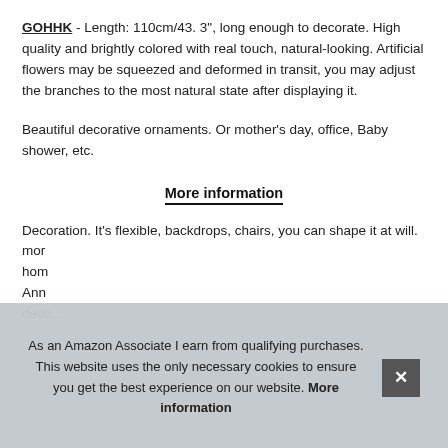GOHHK - Length: 110cm/43. 3", long enough to decorate. High quality and brightly colored with real touch, natural-looking. Artificial flowers may be squeezed and deformed in transit, you may adjust the branches to the most natural state after displaying it.
Beautiful decorative ornaments. Or mother's day, office, Baby shower, etc.
More information
Decoration. It's flexible, backdrops, chairs, you can shape it at will. mor hom Ann deco...
As an Amazon Associate I earn from qualifying purchases. This website uses the only necessary cookies to ensure you get the best experience on our website. More information